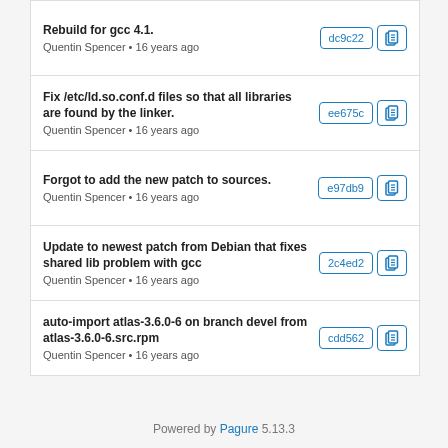Rebuild for gcc 4.1. Quentin Spencer • 16 years ago [dc9c22]
Fix /etc/ld.so.conf.d files so that all libraries are found by the linker. Quentin Spencer • 16 years ago [ee675c]
Forgot to add the new patch to sources. Quentin Spencer • 16 years ago [e97db9]
Update to newest patch from Debian that fixes shared lib problem with gcc Quentin Spencer • 16 years ago [2c4ed2]
auto-import atlas-3.6.0-6 on branch devel from atlas-3.6.0-6.src.rpm Quentin Spencer • 16 years ago [cdd562]
Powered by Pagure 5.13.3